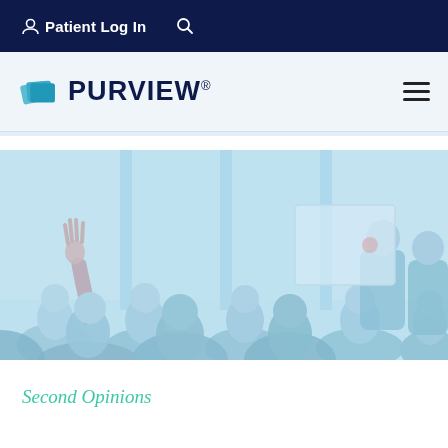Patient Log In  🔍
[Figure (logo): Purview logo with teal card fan icon and PURVIEW® wordmark in dark navy]
[Figure (photo): Blue-tinted photo of a classroom/seminar setting with audience members, one person raising their hand, and a presenter at the front]
Second Opinions